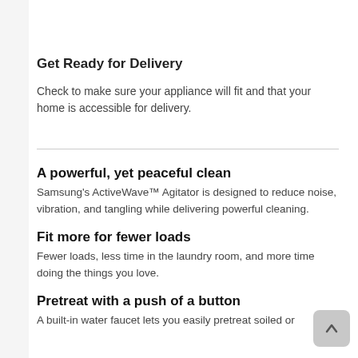Get Ready for Delivery
Check to make sure your appliance will fit and that your home is accessible for delivery.
A powerful, yet peaceful clean
Samsung's ActiveWave™ Agitator is designed to reduce noise, vibration, and tangling while delivering powerful cleaning.
Fit more for fewer loads
Fewer loads, less time in the laundry room, and more time doing the things you love.
Pretreat with a push of a button
A built-in water faucet lets you easily pretreat soiled or